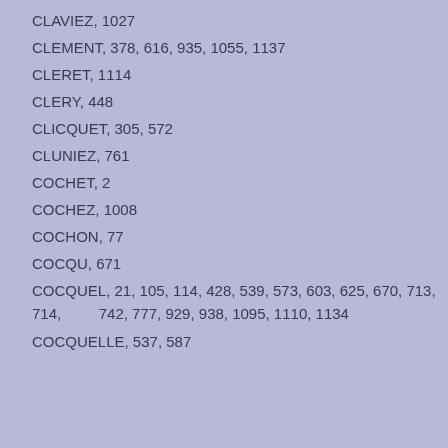CLAVIEZ, 1027
CLEMENT, 378, 616, 935, 1055, 1137
CLERET, 1114
CLERY, 448
CLICQUET, 305, 572
CLUNIEZ, 761
COCHET, 2
COCHEZ, 1008
COCHON, 77
COCQU, 671
COCQUEL, 21, 105, 114, 428, 539, 573, 603, 625, 670, 713, 714,        742, 777, 929, 938, 1095, 1110, 1134
COCQUELLE, 537, 587